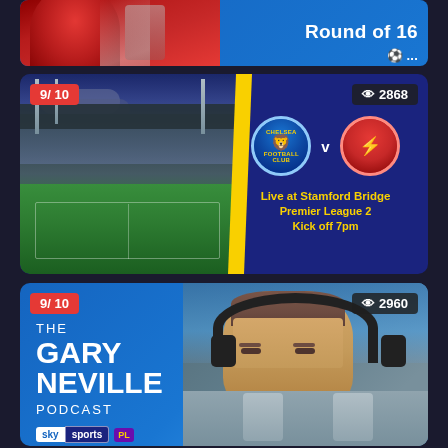[Figure (screenshot): Partial top card showing Round of 16 text on blue background with person in red]
[Figure (screenshot): Chelsea v Manchester United match card. Live at Stamford Bridge, Premier League 2, Kick off 7pm. Rating 9/10, 2868 views. Shows stadium photo on left with yellow slash divider, team badges on right.]
[Figure (screenshot): The Gary Neville Podcast card on Sky Sports. Rating 9/10, 2960 views. Shows photo of Gary Neville in headphones on right side, podcast branding text on left.]